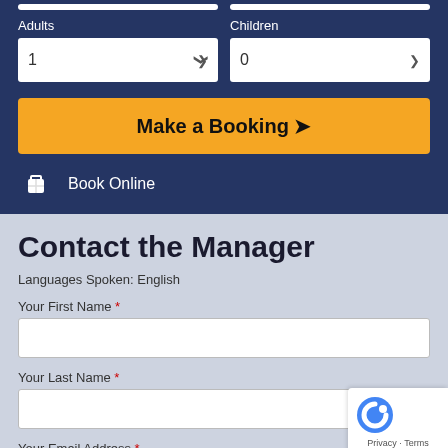Adults
Children
1
0
Make a Booking ❯
Book Online
Contact the Manager
Languages Spoken: English
Your First Name *
Your Last Name *
Your Email Address *